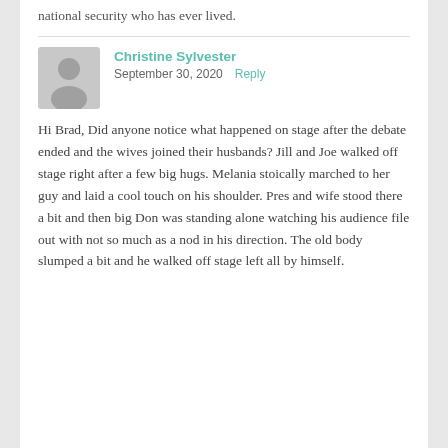national security who has ever lived.
Christine Sylvester
September 30, 2020   Reply
Hi Brad, Did anyone notice what happened on stage after the debate ended and the wives joined their husbands? Jill and Joe walked off stage right after a few big hugs. Melania stoically marched to her guy and laid a cool touch on his shoulder. Pres and wife stood there a bit and then big Don was standing alone watching his audience file out with not so much as a nod in his direction. The old body slumped a bit and he walked off stage left all by himself.